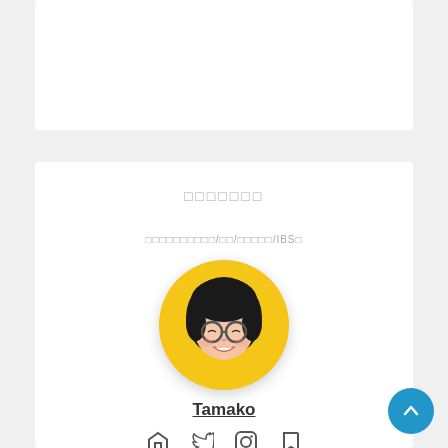□□□□□□□
□□□□□□□□□□/□□/□□□□□/IBS□
[Figure (illustration): Circular avatar illustration with yellow/gold background showing an anime-style girl character with black hair, glasses, and a smile]
Tamako
[Figure (other): Social media icons: home, twitter, instagram, bookmark]
[Figure (other): Blue circular button with upward arrow in bottom right corner]